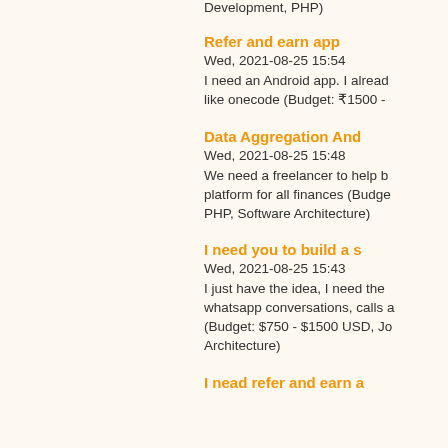Development, PHP)
Refer and earn app
Wed, 2021-08-25 15:54
I need an Android app. I already like onecode (Budget: ₹1500 -
Data Aggregation And
Wed, 2021-08-25 15:48
We need a freelancer to help b platform for all finances (Budge PHP, Software Architecture)
I need you to build a s
Wed, 2021-08-25 15:43
I just have the idea, I need the whatsapp conversations, calls a (Budget: $750 - $1500 USD, Jo Architecture)
I nead refer and earn a